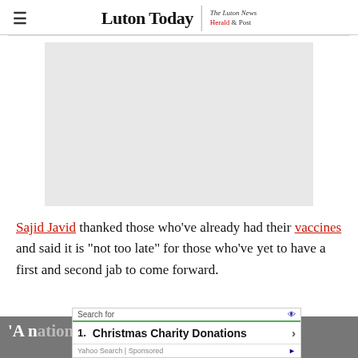Luton Today | The Luton News Herald & Post
[Figure (other): Grey advertisement placeholder rectangle]
Sajid Javid thanked those who've already had their vaccines and said it is "not too late" for those who've yet to have a first and second jab to come forward.
'A n... (teaser text partially visible)
[Figure (screenshot): Yahoo Search sponsored ad overlay: Search for 1. Christmas Charity Donations]